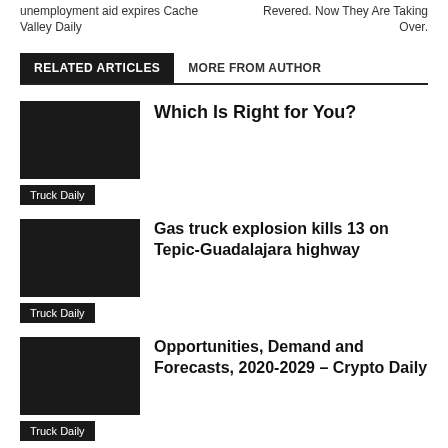unemployment aid expires Cache Valley Daily
Revered. Now They Are Taking Over.
RELATED ARTICLES
MORE FROM AUTHOR
Which Is Right for You?
Truck Daily
Gas truck explosion kills 13 on Tepic-Guadalajara highway
Truck Daily
Opportunities, Demand and Forecasts, 2020-2029 – Crypto Daily
Truck Daily